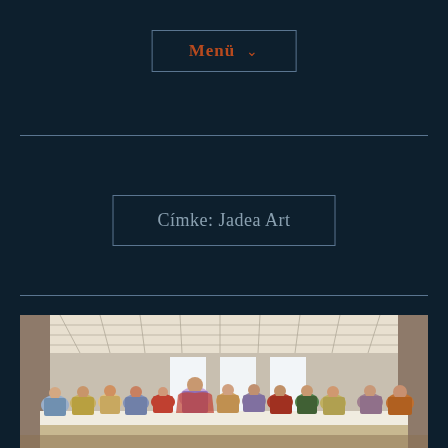Menü ▾
Címke: Jadea Art
[Figure (illustration): Reproduction of Leonardo da Vinci's The Last Supper painting, showing Jesus and his twelve apostles seated at a long table in a hall with coffered ceiling and arched doorways.]